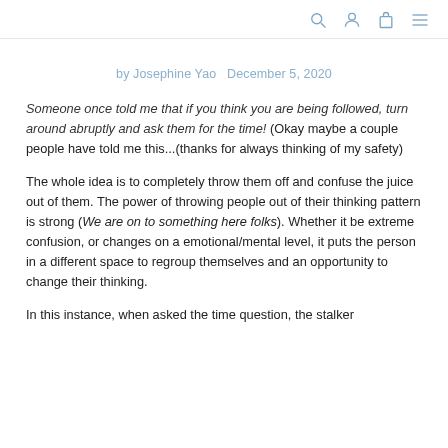[navigation icons: search, user, bag, menu]
by Josephine Yao   December 5, 2020
Someone once told me that if you think you are being followed, turn around abruptly and ask them for the time! (Okay maybe a couple people have told me this...(thanks for always thinking of my safety)
The whole idea is to completely throw them off and confuse the juice out of them. The power of throwing people out of their thinking pattern is strong (We are on to something here folks). Whether it be extreme confusion, or changes on a emotional/mental level, it puts the person in a different space to regroup themselves and an opportunity to change their thinking.
In this instance, when asked the time question, the stalker